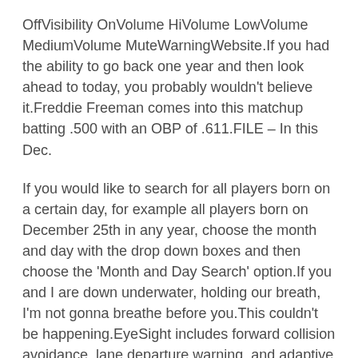OffVisibility OnVolume HiVolume LowVolume MediumVolume MuteWarningWebsite.If you had the ability to go back one year and then look ahead to today, you probably wouldn't believe it.Freddie Freeman comes into this matchup batting .500 with an OBP of .611.FILE – In this Dec.
If you would like to search for all players born on a certain day, for example all players born on December 25th in any year, choose the month and day with the drop down boxes and then choose the 'Month and Day Search' option.If you and I are down underwater, holding our breath, I'm not gonna breathe before you.This couldn't be happening.EyeSight includes forward collision avoidance, lane departure warning, and adaptive cruise control.
The sun ebbs beyond the horizon on Andrew